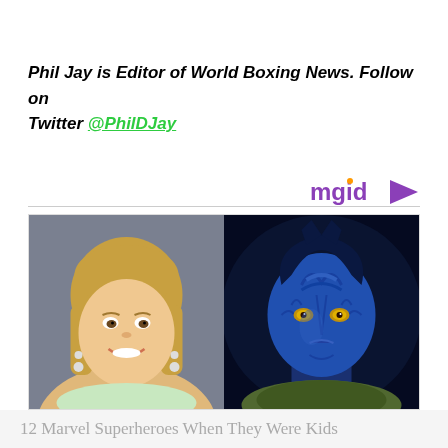Phil Jay is Editor of World Boxing News. Follow on Twitter @PhilDJay
[Figure (photo): Side-by-side composite photo: left side shows a young girl with long blonde hair in a school photo, smiling, wearing earrings; right side shows the character Mystique from X-Men, with blue skin, yellow eyes, and dark blue hair.]
12 Marvel Superheroes When They Were Kids